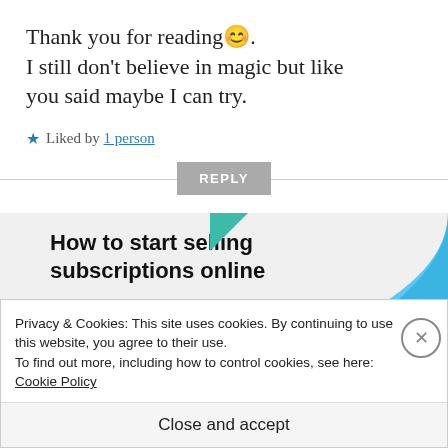Thank you for reading 😊. I still don't believe in magic but like you said maybe I can try.
★ Liked by 1 person
REPLY
[Figure (other): Advertisement banner: 'How to start selling subscriptions online' with teal triangle and blue shape graphic]
Privacy & Cookies: This site uses cookies. By continuing to use this website, you agree to their use. To find out more, including how to control cookies, see here: Cookie Policy
Close and accept